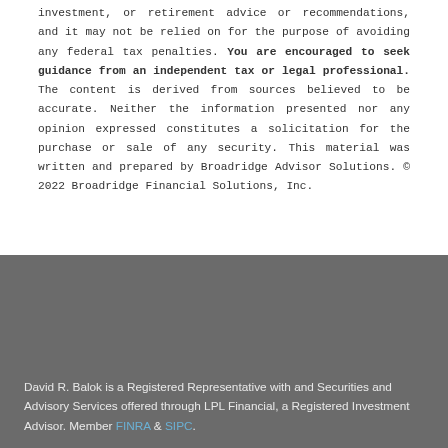investment, or retirement advice or recommendations, and it may not be relied on for the purpose of avoiding any federal tax penalties. You are encouraged to seek guidance from an independent tax or legal professional. The content is derived from sources believed to be accurate. Neither the information presented nor any opinion expressed constitutes a solicitation for the purchase or sale of any security. This material was written and prepared by Broadridge Advisor Solutions. © 2022 Broadridge Financial Solutions, Inc.
David R. Balok is a Registered Representative with and Securities and Advisory Services offered through LPL Financial, a Registered Investment Advisor. Member FINRA & SIPC.